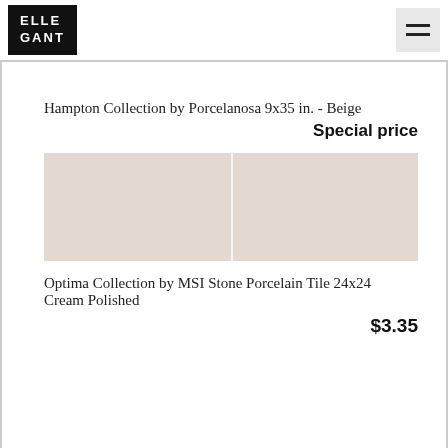ELLE GANT
Hampton Collection by Porcelanosa 9x35 in. - Beige
Special price
[Figure (photo): Two beige/cream porcelain tiles shown side by side]
Optima Collection by MSI Stone Porcelain Tile 24x24 Cream Polished
$3.35